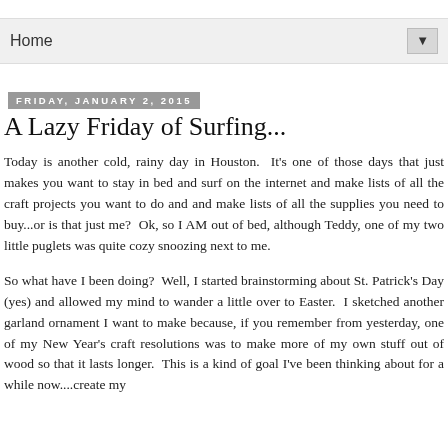Home
Friday, January 2, 2015
A Lazy Friday of Surfing...
Today is another cold, rainy day in Houston.  It's one of those days that just makes you want to stay in bed and surf on the internet and make lists of all the craft projects you want to do and and make lists of all the supplies you need to buy...or is that just me?  Ok, so I AM out of bed, although Teddy, one of my two little puglets was quite cozy snoozing next to me.
So what have I been doing?  Well, I started brainstorming about St. Patrick's Day (yes) and allowed my mind to wander a little over to Easter.  I sketched another garland ornament I want to make because, if you remember from yesterday, one of my New Year's craft resolutions was to make more of my own stuff out of wood so that it lasts longer.  This is a kind of goal I've been thinking about for a while now....create my